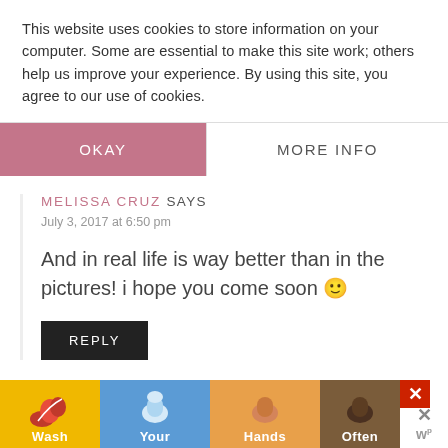This website uses cookies to store information on your computer. Some are essential to make this site work; others help us improve your experience. By using this site, you agree to our use of cookies.
OKAY
MORE INFO
MELISSA CRUZ SAYS
July 3, 2017 at 6:50 pm
And in real life is way better than in the pictures! i hope you come soon 🙂
REPLY
[Figure (screenshot): Advertisement banner showing 'Wash Your Hands Often' with colorful illustrated hand-washing graphics across yellow, blue, green, and red background sections, with a close button and a 'W' logo on white background.]